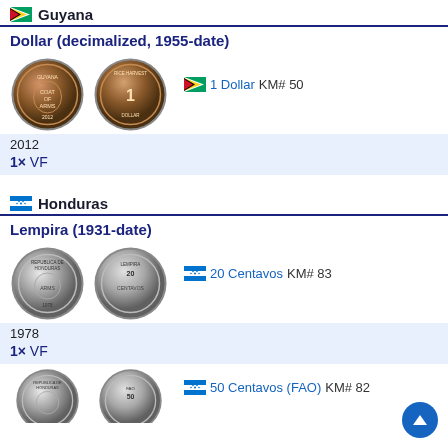🇬🇾 Guyana
Dollar (decimalized, 1955-date)
[Figure (photo): Two copper-colored coins: obverse and reverse of Guyana 1 Dollar]
🇬🇾 1 Dollar KM# 50
2012
1× VF
🇭🇳 Honduras
Lempira (1931-date)
[Figure (photo): Two silver-colored coins: obverse and reverse of Honduras 20 Centavos]
🇭🇳 20 Centavos KM# 83
1978
1× VF
[Figure (photo): Two silver-colored coins partially visible: obverse and reverse of Honduras 50 Centavos (FAO)]
🇭🇳 50 Centavos (FAO) KM# 82